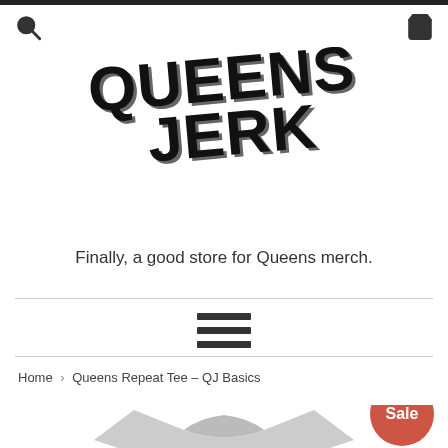Queens Jerk
QUEENS JERK
Finally, a good store for Queens merch.
[Figure (illustration): Hamburger menu icon (three horizontal lines)]
Home › Queens Repeat Tee – QJ Basics
[Figure (photo): Partial view of a grey t-shirt product image with a red Sale badge in the bottom right corner]